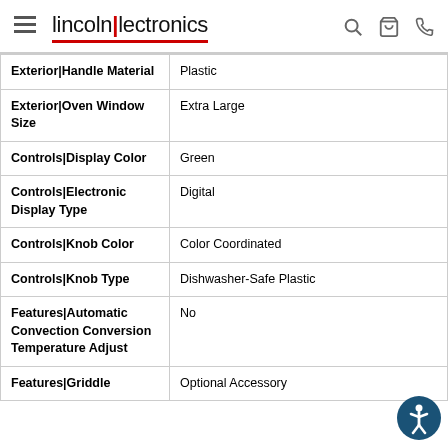lincoln|lectronics
| Attribute | Value |
| --- | --- |
| Exterior|Handle Material | Plastic |
| Exterior|Oven Window Size | Extra Large |
| Controls|Display Color | Green |
| Controls|Electronic Display Type | Digital |
| Controls|Knob Color | Color Coordinated |
| Controls|Knob Type | Dishwasher-Safe Plastic |
| Features|Automatic Convection Conversion Temperature Adjust | No |
| Features|Griddle | Optional Accessory |